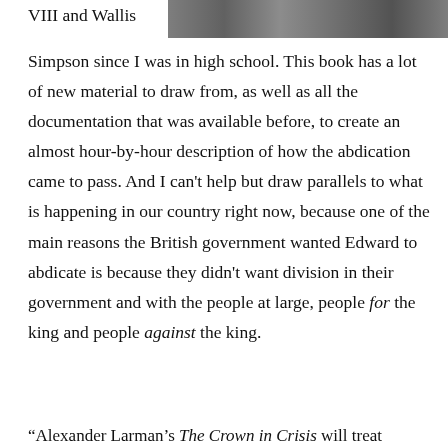[Figure (photo): Black and white photograph strip showing people, partially visible at top right of page]
VIII and Wallis
Simpson since I was in high school. This book has a lot of new material to draw from, as well as all the documentation that was available before, to create an almost hour-by-hour description of how the abdication came to pass. And I can't help but draw parallels to what is happening in our country right now, because one of the main reasons the British government wanted Edward to abdicate is because they didn't want division in their government and with the people at large, people for the king and people against the king.
“Alexander Larman’s The Crown in Crisis will treat